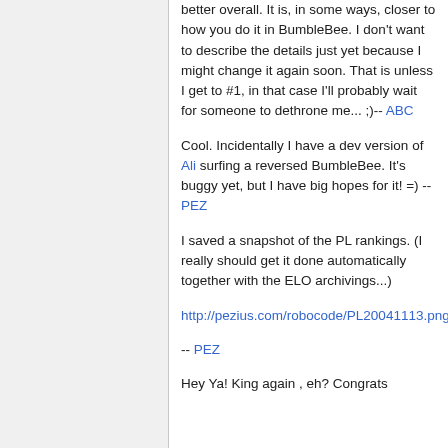better overall. It is, in some ways, closer to how you do it in BumbleBee. I don't want to describe the details just yet because I might change it again soon. That is unless I get to #1, in that case I'll probably wait for someone to dethrone me... ;)-- ABC
Cool. Incidentally I have a dev version of Ali surfing a reversed BumbleBee. It's buggy yet, but I have big hopes for it! =) -- PEZ
I saved a snapshot of the PL rankings. (I really should get it done automatically together with the ELO archivings...)
http://pezius.com/robocode/PL20041113.png
-- PEZ
Hey Ya! King again , eh? Congrats